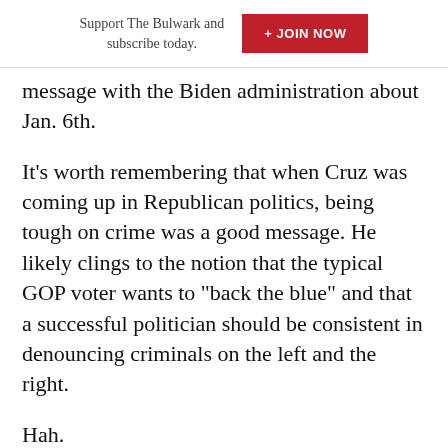Support The Bulwark and subscribe today. + JOIN NOW
message with the Biden administration about Jan. 6th.
It’s worth remembering that when Cruz was coming up in Republican politics, being tough on crime was a good message. He likely clings to the notion that the typical GOP voter wants to “back the blue” and that a successful politician should be consistent in denouncing criminals on the left and the right.
Hah.
The in…